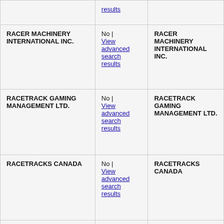| results | results |  |
| RACER MACHINERY INTERNATIONAL INC. | No | View advanced search results | RACER MACHINERY INTERNATIONAL INC. |
| RACETRACK GAMING MANAGEMENT LTD. | No | View advanced search results | RACETRACK GAMING MANAGEMENT LTD. |
| RACETRACKS CANADA | No | View advanced search results | RACETRACKS CANADA |
| RACETRACKS OF CANADA | No | View advanced search results | RACETRACKS OF CANADA |